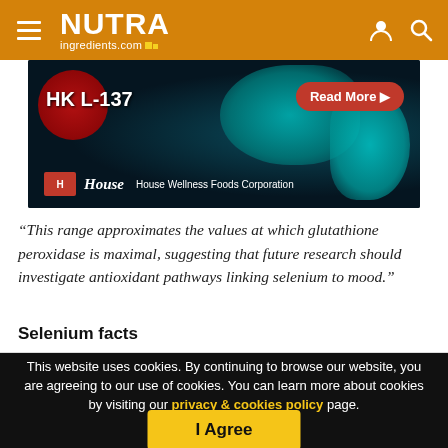NUTRAingredients.com
[Figure (photo): Advertisement banner for House Wellness Foods Corporation featuring HK L-137 probiotic product with colorful bacteria imagery, 'Read More' button, and House brand logo.]
“This range approximates the values at which glutathione peroxidase is maximal, suggesting that future research should investigate antioxidant pathways linking selenium to mood.”
Selenium facts
This website uses cookies. By continuing to browse our website, you are agreeing to our use of cookies. You can learn more about cookies by visiting our privacy & cookies policy page.